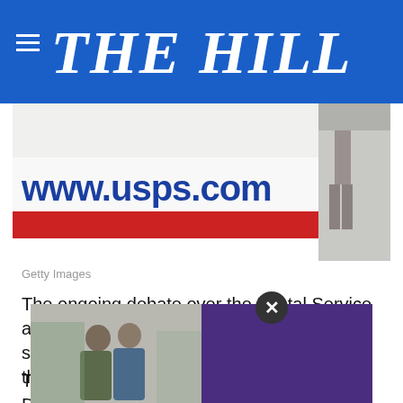THE HILL
[Figure (photo): USPS postal truck with www.usps.com text visible, person walking in background]
Getty Images
The ongoing debate over the Postal Service and the Republican National Convention starting Monday are expected to dominate the Sunday talk show circuit.
The Republican convention comes after the Democratic National Convention this week, where speakers presented a scathing criticism of President Trump from several angles. Trump even received rebukes from members of his own party and former admin